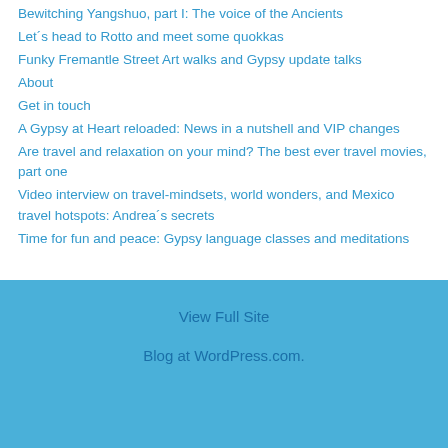Bewitching Yangshuo, part I: The voice of the Ancients
Let´s head to Rotto and meet some quokkas
Funky Fremantle Street Art walks and Gypsy update talks
About
Get in touch
A Gypsy at Heart reloaded: News in a nutshell and VIP changes
Are travel and relaxation on your mind? The best ever travel movies, part one
Video interview on travel-mindsets, world wonders, and Mexico travel hotspots: Andrea´s secrets
Time for fun and peace: Gypsy language classes and meditations
View Full Site
Blog at WordPress.com.